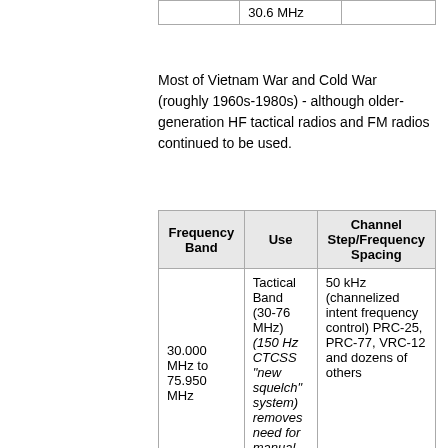|  |  |  |
| --- | --- | --- |
|  | 30.6 MHz |  |
Most of Vietnam War and Cold War (roughly 1960s-1980s) - although older-generation HF tactical radios and FM radios continued to be used.
| Frequency Band | Use | Channel Step/Frequency Spacing |
| --- | --- | --- |
| 30.000 MHz to 75.950 MHz | Tactical Band (30-76 MHz) (150 Hz CTCSS "new squelch" system) removes need for manual squelch | 50 kHz (channelized intent frequency control) PRC-25, PRC-77, VRC-12 and dozens of others |